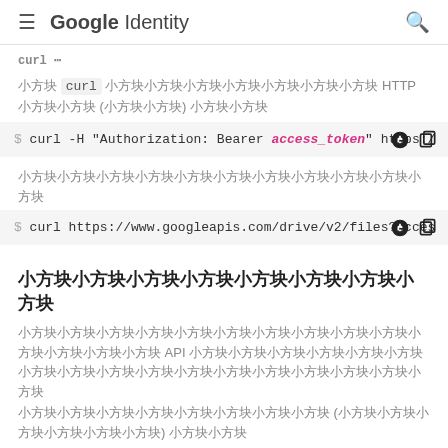Google Identity
curl … curl ……………………… HTTP …… (……) ……
[Figure (screenshot): Code block showing: $ curl -H "Authorization: Bearer access_token" https:/...]
……………………………
[Figure (screenshot): Code block showing: $ curl https://www.googleapis.com/drive/v2/files?acces...]
……………………
…………………………………… API ……………………………………………
…………………… (………………) ……